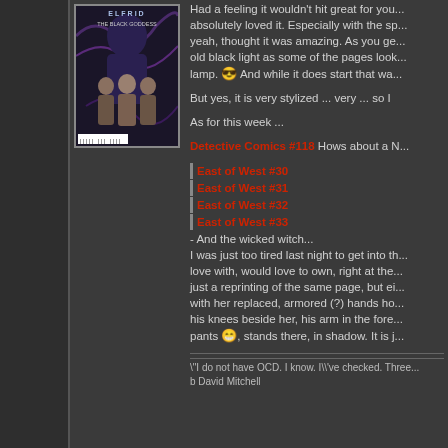[Figure (illustration): Comic book cover: 'Elfrid: The Black Goddess' showing figures on dark purple background with barcode at bottom]
Had a feeling it wouldn't hit great for you ... absolutely loved it. Especially with the sp... yeah, thought it was amazing. As you ge... old black light as some of the pages look... lamp. 😎 And while it does start that wa...
But yes, it is very stylized ... very ... so I
As for this week ...
Detective Comics #118 Hows about a N...
East of West #30
East of West #31
East of West #32
East of West #33
- And the wicked witch... I was just too tired last night to get into th... love with, would love to own, right at the... just a reprinting of the same page, but ei... with her replaced, armored (?) hands ho... his knees beside her, his arm in the fore... pants 😁, stands there, in shadow. It is j...
\"I do not have OCD. I know. I\\ve checked. Three... b David Mitchell